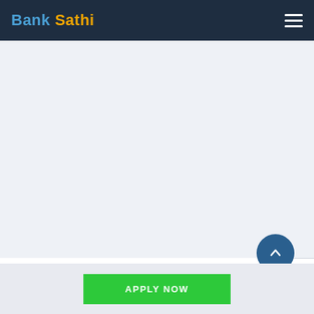Bank Sathi
[Figure (other): Large blank/empty content area with light blue-grey background, likely an advertisement or image placeholder]
Nothing gets done without that paperwork (wh...e'll
APPLY NOW